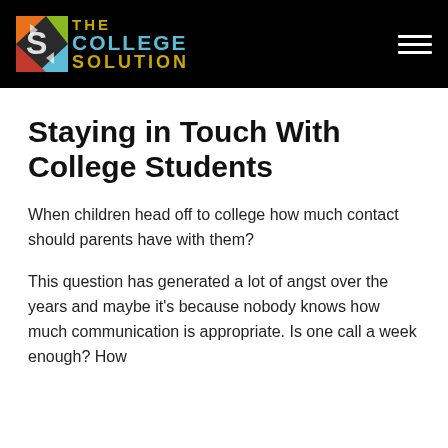[Figure (logo): The College Solution logo with colorful S icon and text logo on black header background]
Staying in Touch With College Students
When children head off to college how much contact should parents have with them?
This question has generated a lot of angst over the years and maybe it's because nobody knows how much communication is appropriate. Is one call a week enough? How